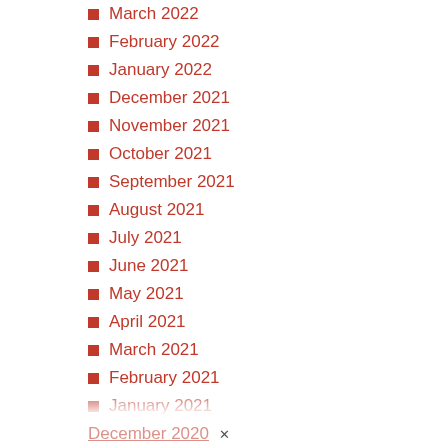March 2022
February 2022
January 2022
December 2021
November 2021
October 2021
September 2021
August 2021
July 2021
June 2021
May 2021
April 2021
March 2021
February 2021
January 2021
December 2020 (partial)